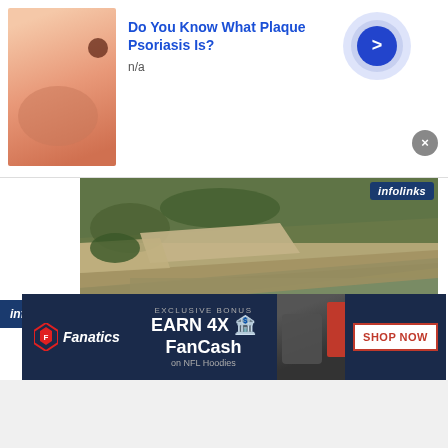[Figure (screenshot): Top advertisement banner: image of skin lesion on finger, title 'Do You Know What Plaque Psoriasis Is?', subtitle 'n/a', with blue arrow circle button and close X button]
[Figure (photo): Aerial photograph of Church of Spiritual Technology headquarters compound showing roads, green vegetation, and a body of water with earthen banks. 'infolinks' badge in top-right corner.]
2. The Church of Spiritual Technology's headquarters compound, near Lake Arrowhead, California, where we believe Shelly Miscavige has lived and worked since 2005.
[Figure (screenshot): Fanatics advertisement: 'EXCLUSIVE BONUS EARN 4X FanCash on NFL Hoodies' with Fanatics logo, hoodie image, and 'SHOP NOW' button. Infolinks bar overlay at top.]